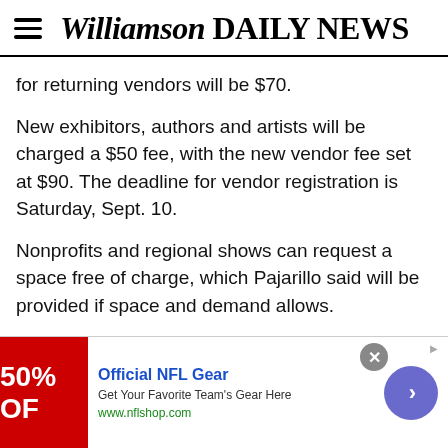Williamson DAILY NEWS
for returning vendors will be $70.
New exhibitors, authors and artists will be charged a $50 fee, with the new vendor fee set at $90. The deadline for vendor registration is Saturday, Sept. 10.
Nonprofits and regional shows can request a space free of charge, which Pajarillo said will be provided if space and demand allows.
Each space is 10x10. Chairs will not be provided. WillCon can provide tables for an additional fee of $25 per
[Figure (other): Advertisement banner for Official NFL Gear showing 50% off promotion with red background, NFL shop URL, and a circular arrow navigation button]